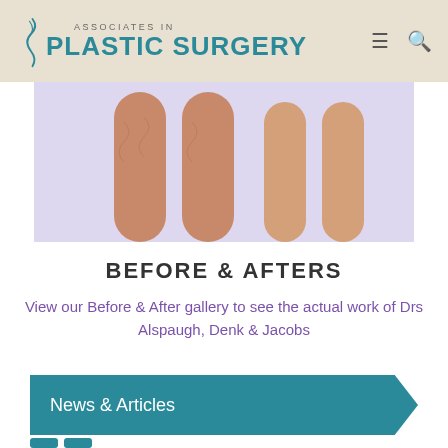Associates in Plastic Surgery
[Figure (photo): Before and after photo showing legs/thighs comparison, two views side by side against a light background]
BEFORE & AFTERS
View our Before & After gallery to see the actual work of Drs Alspaugh, Denk & Jacobs
News & Articles